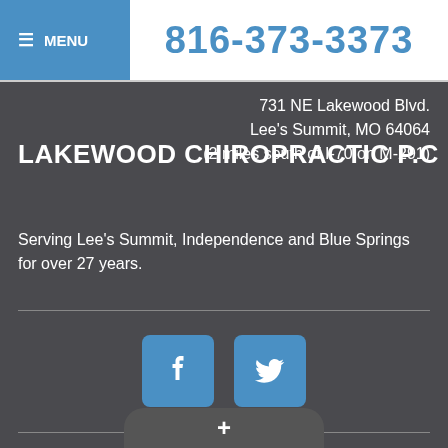≡ MENU   816-373-3373
731 NE Lakewood Blvd.
Lee's Summit, MO 64064
(2 miles south of I-70 on M-291)
LAKEWOOD CHIROPRACTIC P.C
Serving Lee's Summit, Independence and Blue Springs for over 27 years.
[Figure (other): Facebook and Twitter social media icon buttons]
Site Map
ACA Notices
Admin Log In